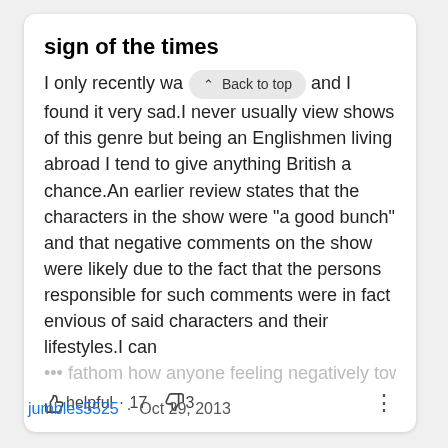sign of the times
I only recently wa… and I found it very sad.I never usually view shows of this genre but being an Englishmen living abroad I tend to give anything British a chance.An earlier review states that the characters in the show were "a good bunch" and that negative comments on the show were likely due to the fact that the persons responsible for such comments were in fact envious of said characters and their lifestyles.I can
••• fathom how anyone feeling negatively towards
helpful · 17  3
jumbles5525 · Oct 29, 2013